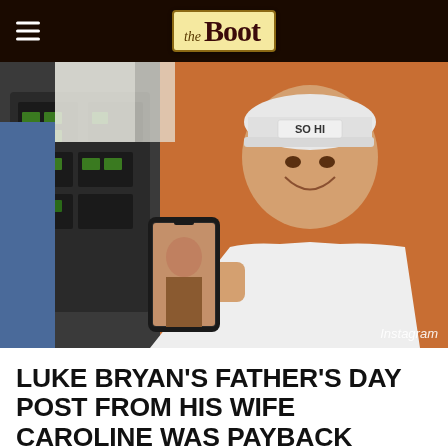the Boot
[Figure (photo): Man wearing a white cap labeled 'SO HI' smiling and holding up a smartphone showing a photo on its screen. Background shows what appears to be a cockpit or vehicle interior with instrument panels. Attribution: Instagram]
Instagram
LUKE BRYAN'S FATHER'S DAY POST FROM HIS WIFE CAROLINE WAS PAYBACK [PICTURES]